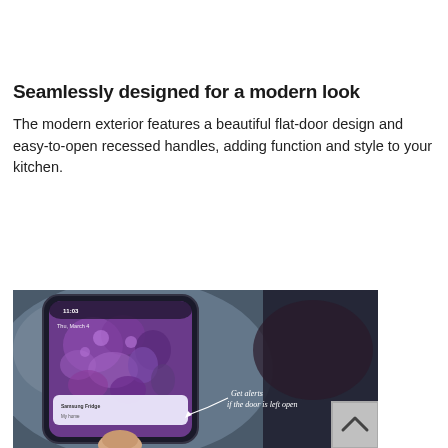Seamlessly designed for a modern look
The modern exterior features a beautiful flat-door design and easy-to-open recessed handles, adding function and style to your kitchen.
[Figure (photo): A hand holding a Samsung smartphone showing the lock screen with time 11:03, Tuesday March 4, displaying a purple floral wallpaper. A handwritten annotation reads 'Get alerts if the door is left open'. A scroll-to-top button with chevron up icon is visible in the bottom right corner.]